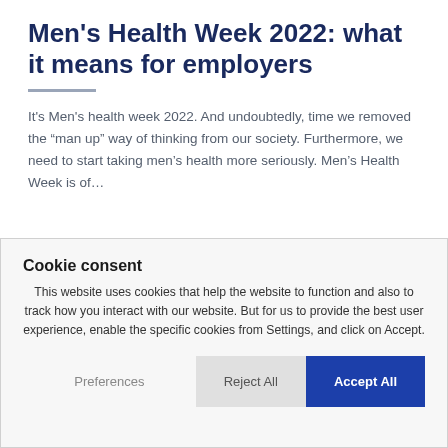Men's Health Week 2022: what it means for employers
It's Men's health week 2022. And undoubtedly, time we removed the “man up” way of thinking from our society. Furthermore, we need to start taking men’s health more seriously. Men’s Health Week is of…
Cookie consent
This website uses cookies that help the website to function and also to track how you interact with our website. But for us to provide the best user experience, enable the specific cookies from Settings, and click on Accept.